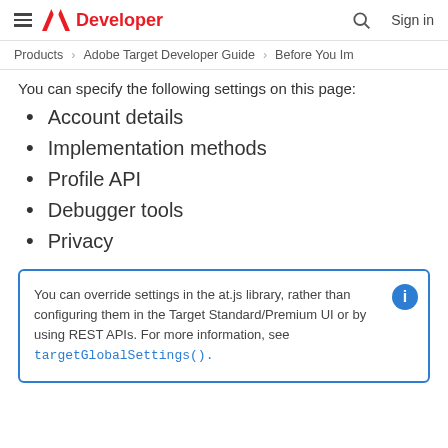≡  Adobe Developer  🔍  Sign in
Products   Adobe Target Developer Guide   Before You Im…
You can specify the following settings on this page:
Account details
Implementation methods
Profile API
Debugger tools
Privacy
You can override settings in the at.js library, rather than configuring them in the Target Standard/Premium UI or by using REST APIs. For more information, see targetGlobalSettings().